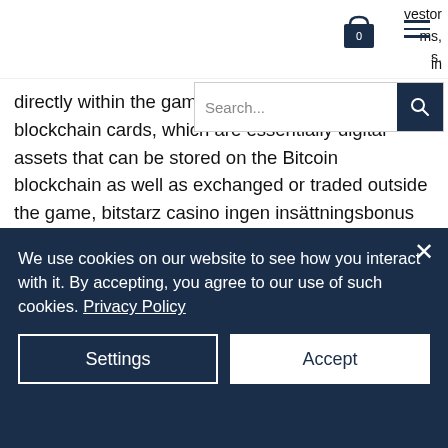[Figure (screenshot): Website header with cart icon showing 0 items, hamburger menu icon, and partial text 'vestor ms, s. in']
[Figure (screenshot): Search bar input field with placeholder text 'Search...' and a dark blue search button with magnifying glass icon]
directly within the game. You can also collect blockchain cards, which are essentially digital assets that can be stored on the Bitcoin blockchain as well as exchanged or traded outside the game, bitstarz casino ingen insättningsbonus codes. Hype Builds for Crypto Gaming Conference (CGC): Blockchain Gaming & VR in Kiev, bitstarz casino no deposit code. Crypto Gaming Conference (CGC) is reported to be one of
We use cookies on our website to see how you interact with it. By accepting, you agree to our use of such cookies. Privacy Policy
Settings
Accept